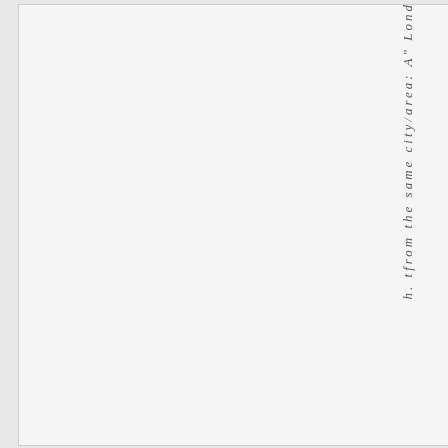[Figure (other): A white/light gray rectangular panel taking up the left portion of the page, appearing to be a blank or image area with a thin border.]
h. tfrom the same city/area: A" Lond